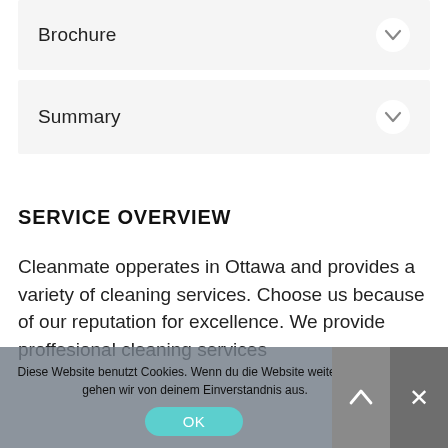Brochure
Summary
SERVICE OVERVIEW
Cleanmate opperates in Ottawa and provides a variety of cleaning services. Choose us because of our reputation for excellence. We provide proffesional cleaning services
Diese Website benutzt Cookies. Wenn du die Website weiter nutzt, gehen wir von deinem Einverstandnis aus.